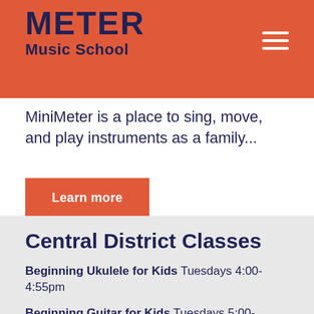METER Music School
MiniMeter is a place to sing, move, and play instruments as a family...
Learn more
Central District Classes
Beginning Ukulele for Kids Tuesdays 4:00-4:55pm
Beginning Guitar for Kids Tuesdays 5:00-